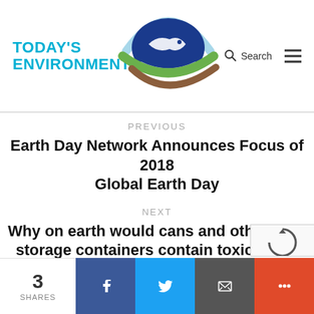[Figure (logo): Today's Environmentalist logo with eye-shaped graphic combining blue, green, and brown arc elements with fish silhouette]
Search
PREVIOUS
Earth Day Network Announces Focus of 2018 Global Earth Day
NEXT
Why on earth would cans and other food storage containers contain toxic BPA?
3 SHARES